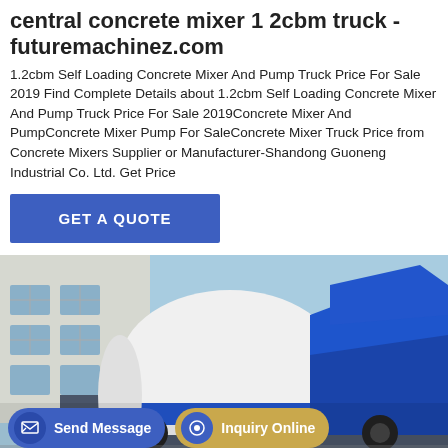central concrete mixer 1 2cbm truck - futuremachinez.com
1.2cbm Self Loading Concrete Mixer And Pump Truck Price For Sale 2019 Find Complete Details about 1.2cbm Self Loading Concrete Mixer And Pump Truck Price For Sale 2019Concrete Mixer And PumpConcrete Mixer Pump For SaleConcrete Mixer Truck Price from Concrete Mixers Supplier or Manufacturer-Shandong Guoneng Industrial Co. Ltd. Get Price
GET A QUOTE
[Figure (photo): Photo of a blue and white self-loading concrete mixer truck parked in front of a building, showing the mixing drum and pump equipment from the side.]